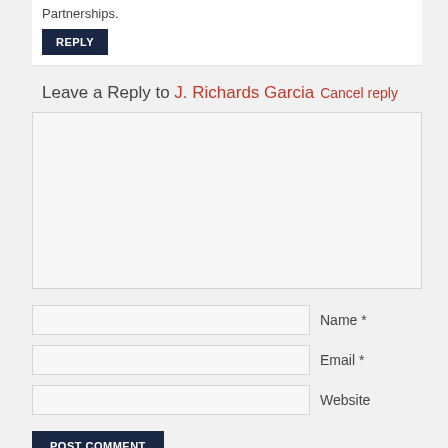Partnerships.
REPLY
Leave a Reply to J. Richards Garcia Cancel reply
[Figure (other): Large comment text area input box with light gray background]
Name *
Email *
Website
POST COMMENT